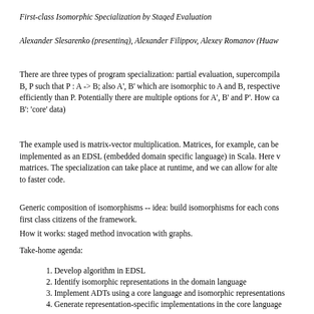First-class Isomorphic Specialization by Staged Evaluation
Alexander Slesarenko (presenting), Alexander Filippov, Alexey Romanov (Huaw...
There are three types of program specialization: partial evaluation, supercompila... B, P such that P : A -> B; also A', B' which are isomorphic to A and B, respective... efficiently than P. Potentially there are multiple options for A', B' and P'. How ca... B': 'core' data)
The example used is matrix-vector multiplication. Matrices, for example, can be... implemented as an EDSL (embedded domain specific language) in Scala. Here v... matrices. The specialization can take place at runtime, and we can allow for alte... to faster code.
Generic composition of isomorphisms -- idea: build isomorphisms for each cons... first class citizens of the framework.
How it works: staged method invocation with graphs.
Take-home agenda:
1. Develop algorithm in EDSL
2. Identify isomorphic representations in the domain language
3. Implement ADTs using a core language and isomorphic representations
4. Generate representation-specific implementations in the core language